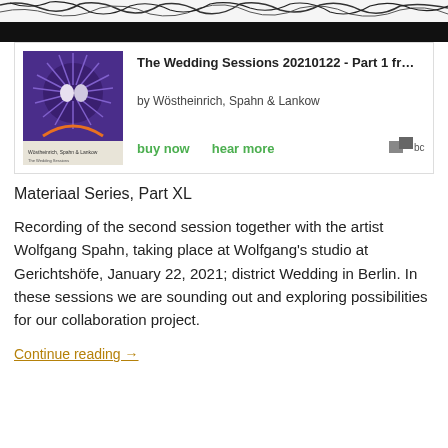[Figure (illustration): Top decorative strip with black and white abstract art/illustration and a black bar]
[Figure (screenshot): Bandcamp embedded player card showing album art for 'The Wedding Sessions 20210122 - Part 1' by Wöstheinrich, Spahn & Lankow, with buy now and hear more links and Bandcamp logo]
Materiaal Series, Part XL
Recording of the second session together with the artist Wolfgang Spahn, taking place at Wolfgang's studio at Gerichtshöfe, January 22, 2021; district Wedding in Berlin. In these sessions we are sounding out and exploring possibilities for our collaboration project.
Continue reading →